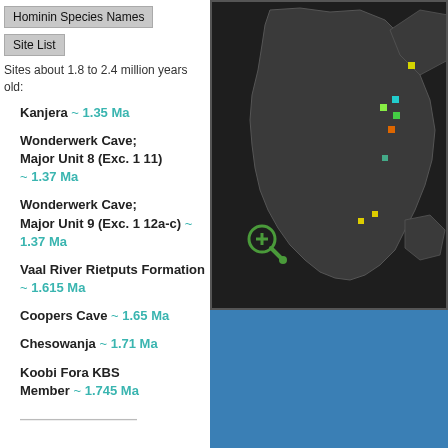Hominin Species Names
Site List
Sites about 1.8 to 2.4 million years old:
Kanjera ~ 1.35 Ma
Wonderwerk Cave; Major Unit 8 (Exc. 1 11) ~ 1.37 Ma
Wonderwerk Cave; Major Unit 9 (Exc. 1 12a-c) ~ 1.37 Ma
Vaal River Rietputs Formation ~ 1.615 Ma
Coopers Cave ~ 1.65 Ma
Chesowanja ~ 1.71 Ma
Koobi Fora KBS Member ~ 1.745 Ma
[Figure (map): Dark map of Africa showing colored site markers (yellow, green, cyan, orange squares) concentrated in East and South Africa, with a zoom/magnify tool icon (green circle with plus) in the lower left of the map.]
[Figure (other): Solid blue rectangle panel below the map, partially visible.]